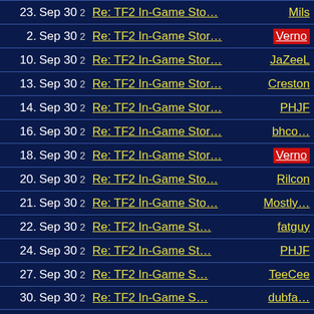| # | Date | Replies | Title | Author |
| --- | --- | --- | --- | --- |
| 23. | Sep 30 | 2 | Re: TF2 In-Game Sto… | Mils |
| 2. | Sep 30 | 2 | Re: TF2 In-Game Stor… | Verno |
| 10. | Sep 30 | 2 | Re: TF2 In-Game Stor… | JaZeeL |
| 13. | Sep 30 | 2 | Re: TF2 In-Game Stor… | Creston |
| 14. | Sep 30 | 2 | Re: TF2 In-Game Stor… | PHJF |
| 16. | Sep 30 | 2 | Re: TF2 In-Game Stor… | bhco… |
| 18. | Sep 30 | 2 | Re: TF2 In-Game Stor… | Verno |
| 20. | Sep 30 | 2 | Re: TF2 In-Game Sto… | Rilcon |
| 21. | Sep 30 | 2 | Re: TF2 In-Game Sto… | Mostly… |
| 22. | Sep 30 | 2 | Re: TF2 In-Game St… | fatguy |
| 24. | Sep 30 | 2 | Re: TF2 In-Game St… | PHJF |
| 27. | Sep 30 | 2 | Re: TF2 In-Game S… | TeeCee |
| 30. | Sep 30 | 2 | Re: TF2 In-Game S… | dubfa… |